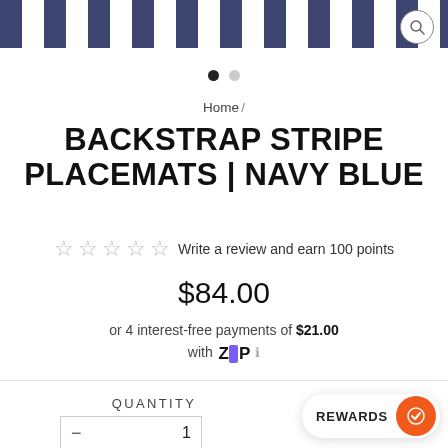[Figure (photo): Top portion of product image showing navy blue striped placemats with search icon overlay]
[Figure (other): Carousel dots: one filled black, one grey]
Home /
BACKSTRAP STRIPE PLACEMATS | NAVY BLUE
☆☆☆☆☆ Write a review and earn 100 points
$84.00
or 4 interest-free payments of $21.00 with Zip ℹ
QUANTITY
- 1
REWARDS